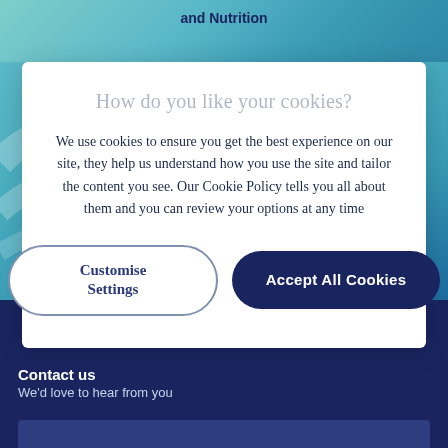and Nutrition
How do you like your cookies?
We use cookies to ensure you get the best experience on our site, they help us understand how you use the site and tailor the content you see. Our Cookie Policy tells you all about them and you can review your options at any time
Customise Settings
Accept All Cookies
[Figure (logo): SAGA logo in white text on dark navy background]
Contact us
We'd love to hear from you